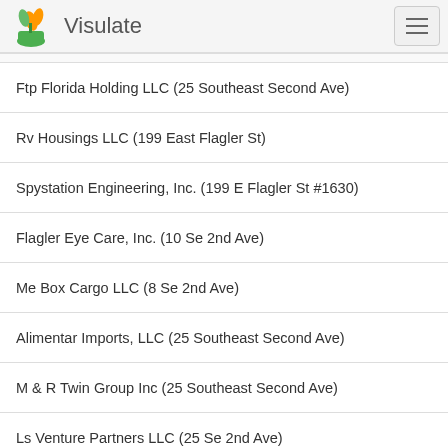Visulate
Ftp Florida Holding LLC (25 Southeast Second Ave)
Rv Housings LLC (199 East Flagler St)
Spystation Engineering, Inc. (199 E Flagler St #1630)
Flagler Eye Care, Inc. (10 Se 2nd Ave)
Me Box Cargo LLC (8 Se 2nd Ave)
Alimentar Imports, LLC (25 Southeast Second Ave)
M & R Twin Group Inc (25 Southeast Second Ave)
Ls Venture Partners LLC (25 Se 2nd Ave)
Gimme Shelter-21, LLC (606 Parkside Pl)
Gimme Shelter-11 (Th) Lc (606 Parkside Pl)